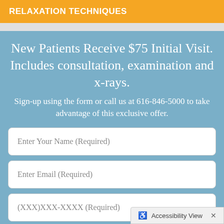RELAXATION TECHNIQUES
New Patients Receive $75 Initial Visit. Includes consultation, examination and x-rays.
Sign-up using the form or call us at 616-846-5000 to take advantage of this exclusive offer.
Enter Your Name (Required)
Enter Email (Required)
(XXX)XXX-XXXX (Required)
Accessibility View